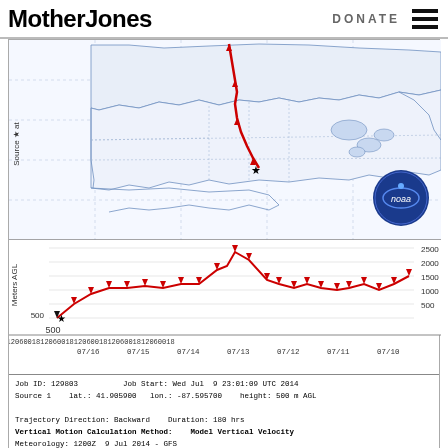Mother Jones    DONATE
[Figure (map): NOAA HYSPLIT backward trajectory map showing air mass path from Canada down to Chicago area (41.9059N, 87.5957W) over 07/10 to 07/16 period, with red trajectory line and triangular markers, NOAA logo in lower right of map panel, plus altitude profile graph below showing Meters AGL on y-axis (500-2500) and dates 07/10 to 07/16 on x-axis, with metadata: Job ID 129803, Job Start Wed Jul 9 23:01:09 UTC 2014, Source 1 lat 41.905900 lon -87.595700 height 500 m AGL, Trajectory Direction Backward Duration 180 hrs, Vertical Motion Calculation Method Model Vertical Velocity, Meteorology 1200Z 9 Jul 2014 - GFS]
NOAA Air Resources Laboratory HYSPLIT model